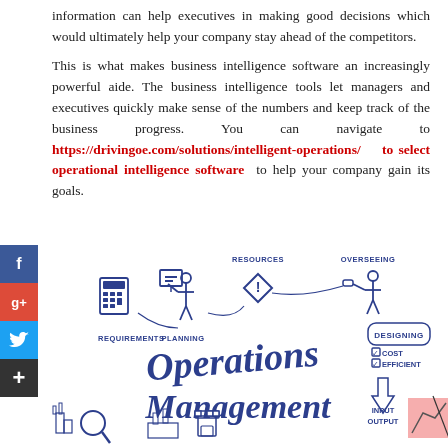information can help executives in making good decisions which would ultimately help your company stay ahead of the competitors.
This is what makes business intelligence software an increasingly powerful aide. The business intelligence tools let managers and executives quickly make sense of the numbers and keep track of the business progress. You can navigate to https://drivingoe.com/solutions/intelligent-operations/ to select operational intelligence software to help your company gain its goals.
[Figure (illustration): Operations Management infographic showing icons for Requirements (calculator), Planning (person with display board), Resources (diamond warning sign), Overseeing (person with binoculars), Designing (checklist with Cost and Efficient), Input/Output (arrows), along with sketched industrial icons at bottom. Large hand-drawn style text reads 'Operations Management'.]